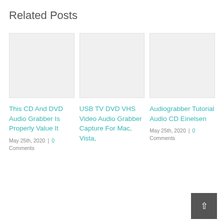Related Posts
[Figure (photo): Gray placeholder image for post 1]
This CD And DVD Audio Grabber Is Properly Value It
May 25th, 2020  |  0 Comments
[Figure (photo): Gray placeholder image for post 2]
USB TV DVD VHS Video Audio Grabber Capture For Mac, Vista,
[Figure (photo): Gray placeholder image for post 3]
Audiograbber Tutorial Audio CD Einelsen
May 25th, 2020  |  0 Comments